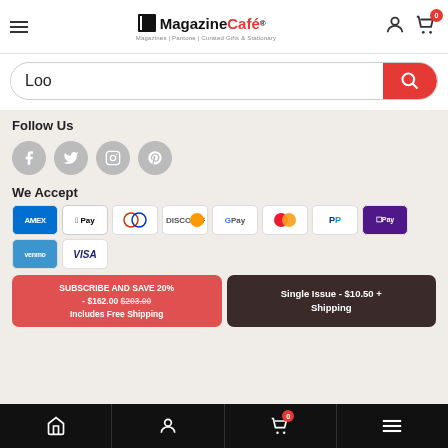[Figure (screenshot): Magazine Café website header with logo, hamburger menu, user account icon, and cart icon with 0 badge]
[Figure (screenshot): Search bar with text 'Loo' and red search button]
Follow Us
[Figure (illustration): Social media icons: Facebook, Twitter, Instagram, Pinterest]
We Accept
[Figure (illustration): Payment method icons: AMEX, Apple Pay, Diners Club, Discover, Google Pay, Mastercard, PayPal, OPay, Venmo, VISA]
SUBSCRIBE AND SAVE 20% - $162.00 $203.00 Includes Free Shipping
Single Issue - $10.50 + Shipping
[Figure (screenshot): Bottom navigation bar with home, account, cart (badge 0), and menu icons]